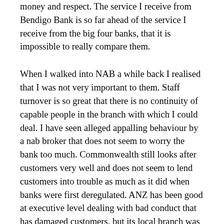money and respect. The service I receive from Bendigo Bank is so far ahead of the service I receive from the big four banks, that it is impossible to really compare them.
When I walked into NAB a while back I realised that I was not very important to them. Staff turnover is so great that there is no continuity of capable people in the branch with which I could deal. I have seen alleged appalling behaviour by a nab broker that does not seem to worry the bank too much. Commonwealth still looks after customers very well and does not seem to lend customers into trouble as much as it did when banks were first deregulated. ANZ has been good at executive level dealing with bad conduct that has damaged customers, but its local branch was so hopeless to deal with that I just gave up and left. Trying to deal with ANZ credit cards over the phone today was just a nightmare. Its